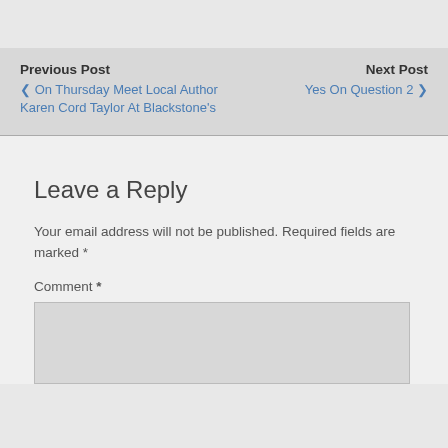Previous Post | Next Post
< On Thursday Meet Local Author Karen Cord Taylor At Blackstone's
Yes On Question 2 >
Leave a Reply
Your email address will not be published. Required fields are marked *
Comment *